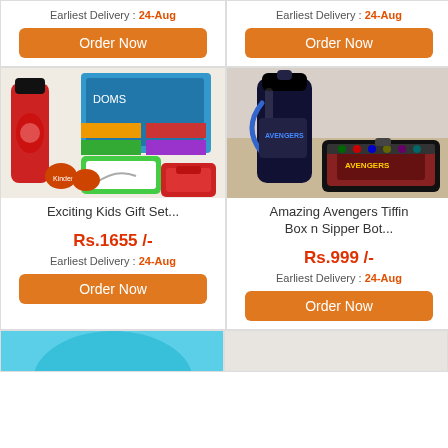Earliest Delivery : 24-Aug
Order Now
Earliest Delivery : 24-Aug
Order Now
[Figure (photo): Exciting Kids Gift Set with Minnie Mouse thermos, DOMS coloring set, magnetic drawing board, Kinder Joy eggs, and a red lunch box]
Exciting Kids Gift Set...
Rs.1655 /-
Earliest Delivery : 24-Aug
Order Now
[Figure (photo): Amazing Avengers Tiffin Box and Sipper Bottle set with blue water bottle and Avengers-themed black lunch box]
Amazing Avengers Tiffin Box n Sipper Bot...
Rs.999 /-
Earliest Delivery : 24-Aug
Order Now
[Figure (photo): Partial view of a blue product at the bottom left]
[Figure (photo): Partial view of a product at the bottom right]